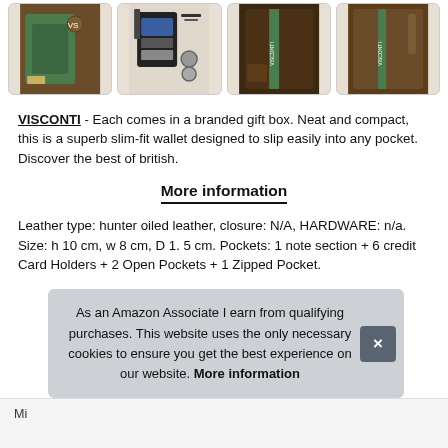[Figure (photo): Four product photos of brown/dark leather wallets in a horizontal strip, each in a rounded-corner card]
VISCONTI - Each comes in a branded gift box. Neat and compact, this is a superb slim-fit wallet designed to slip easily into any pocket. Discover the best of british.
More information
Leather type: hunter oiled leather, closure: N/A, HARDWARE: n/a. Size: h 10 cm, w 8 cm, D 1. 5 cm. Pockets: 1 note section + 6 credit Card Holders + 2 Open Pockets + 1 Zipped Pocket.
As an Amazon Associate I earn from qualifying purchases. This website uses the only necessary cookies to ensure you get the best experience on our website. More information